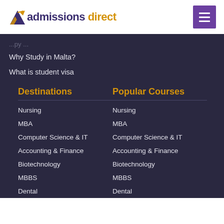[Figure (logo): Admissions Direct logo with triangle icon and text 'admissions direct' in purple and orange]
Why Study in Malta?
What is student visa
Destinations
Nursing
MBA
Computer Science & IT
Accounting & Finance
Biotechnology
MBBS
Dental
Popular Courses
Nursing
MBA
Computer Science & IT
Accounting & Finance
Biotechnology
MBBS
Dental